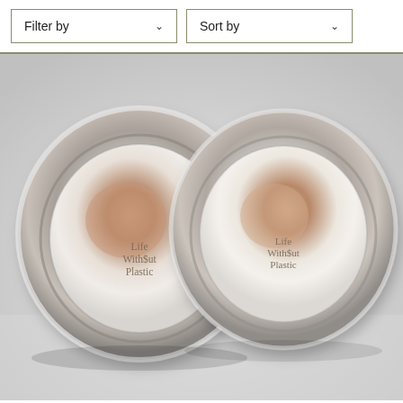[Figure (screenshot): Website UI showing two dropdown controls: 'Filter by' with chevron and 'Sort by' with chevron, styled with olive/tan border]
[Figure (photo): Photograph of two stainless steel round lids viewed from below, each bearing the 'Life Without Plastic' logo text in the center, on a light gray background]